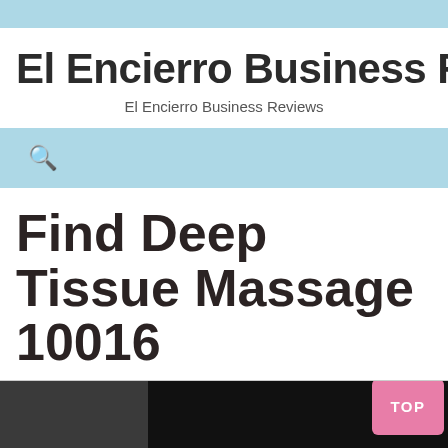El Encierro Business Revi
El Encierro Business Reviews
Find Deep Tissue Massage 10016
[Figure (photo): Dark photograph, partial view of a room or scene, cropped at the bottom of the page. A 'TOP' button overlay is visible in the lower right.]